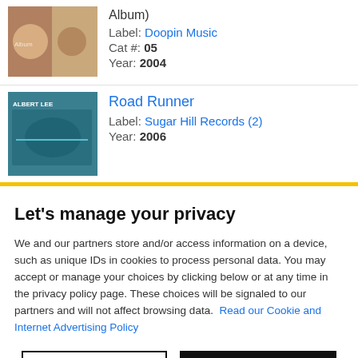Album)
Label: Doopin Music
Cat #: 05
Year: 2004
Road Runner
Label: Sugar Hill Records (2)
Year: 2006
Let's manage your privacy
We and our partners store and/or access information on a device, such as unique IDs in cookies to process personal data. You may accept or manage your choices by clicking below or at any time in the privacy policy page. These choices will be signaled to our partners and will not affect browsing data. Read our Cookie and Internet Advertising Policy
Cookies Settings | Accept All Cookies